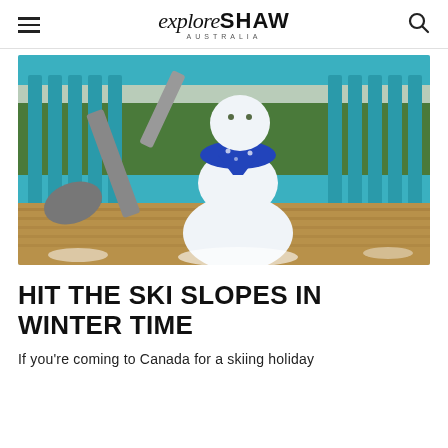exploreSHAW AUSTRALIA
[Figure (photo): A snowman wearing a blue bandana scarf, sitting on a wooden deck next to a snow shovel, with a blue wooden fence and snowy green shrubs in the background.]
HIT THE SKI SLOPES IN WINTER TIME
If you're coming to Canada for a skiing holiday